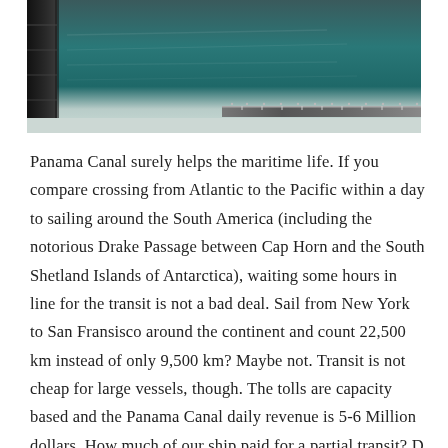[Figure (photo): Photograph showing a view from a ship deck over dark teal water in the Panama Canal, with a dark ship hull visible on the left edge and a measuring/ruler bar visible at the bottom right.]
Panama Canal surely helps the maritime life. If you compare crossing from Atlantic to the Pacific within a day to sailing around the South America (including the notorious Drake Passage between Cap Horn and the South Shetland Islands of Antarctica), waiting some hours in line for the transit is not a bad deal. Sail from New York to San Fransisco around the continent and count 22,500 km instead of only 9,500 km? Maybe not. Transit is not cheap for large vessels, though. The tolls are capacity based and the Panama Canal daily revenue is 5-6 Million dollars. How much of our ship paid for a partial transit? D...